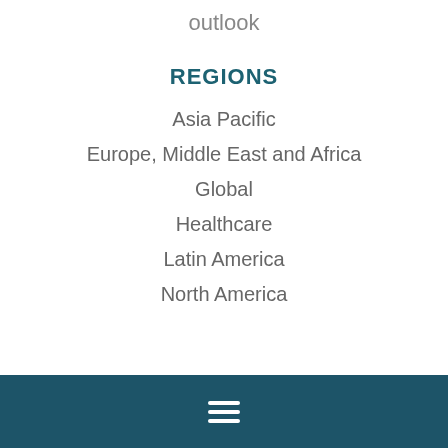outlook
REGIONS
Asia Pacific
Europe, Middle East and Africa
Global
Healthcare
Latin America
North America
[Figure (other): Hamburger menu icon (three horizontal white lines) centered in a dark teal footer bar]